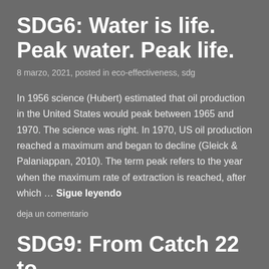SDG6: Water is life. Peak water. Peak life.
8 marzo, 2021, posted in eco-effectiveness, sdg
In 1956 science (Hubert) estimated that oil production in the United States would peak between 1965 and 1970. The science was right. In 1970, US oil production reached a maximum and began to decline (Gleick & Palaniappan, 2010). The term peak refers to the year when the maximum rate of extraction is reached, after which … Sigue leyendo
deja un comentario
SDG9: From Catch 22 to